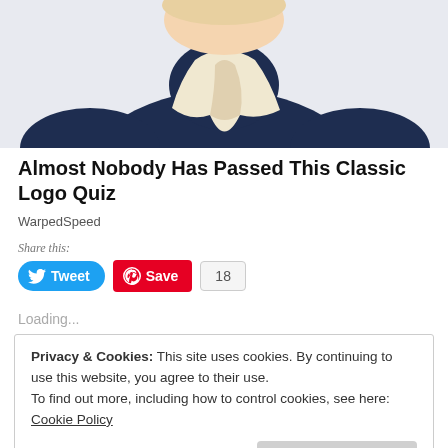[Figure (illustration): Partial view of an illustrated character in a dark navy coat with a white cravat/neckerchief, shown from roughly the shoulders up, cropped at top.]
Almost Nobody Has Passed This Classic Logo Quiz
WarpedSpeed
Share this:
[Figure (screenshot): Social sharing buttons: blue Tweet button with Twitter bird icon, red Save button with Pinterest circle icon, and a count badge showing 18.]
Loading...
Privacy & Cookies: This site uses cookies. By continuing to use this website, you agree to their use.
To find out more, including how to control cookies, see here: Cookie Policy
Close and accept
October 1, 2019   In "Lifestyle"